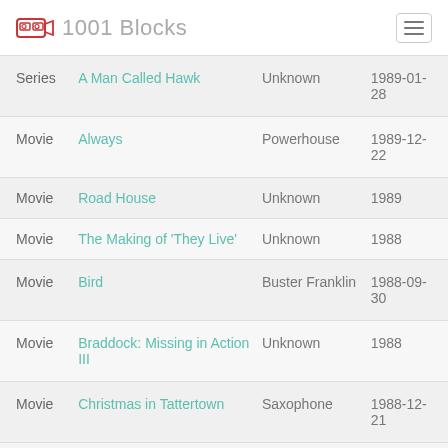1001 Blocks
| Type | Title | Studio | Date |
| --- | --- | --- | --- |
| Series | A Man Called Hawk | Unknown | 1989-01-28 |
| Movie | Always | Powerhouse | 1989-12-22 |
| Movie | Road House | Unknown | 1989 |
| Movie | The Making of 'They Live' | Unknown | 1988 |
| Movie | Bird | Buster Franklin | 1988-09-30 |
| Movie | Braddock: Missing in Action III | Unknown | 1988 |
| Movie | Christmas in Tattertown | Saxophone | 1988-12-21 |